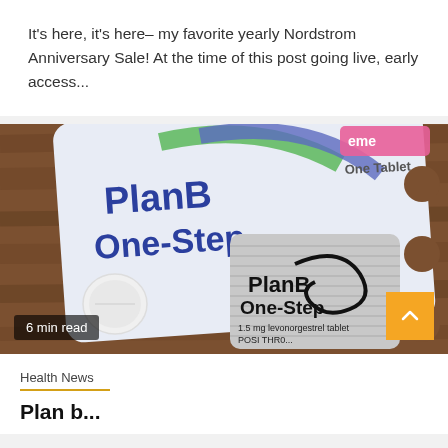It's here, it's here– my favorite yearly Nordstrom Anniversary Sale! At the time of this post going live, early access...
[Figure (photo): Close-up photo of Plan B One-Step emergency contraceptive packaging and pill on a wooden surface. Shows the white tablet and the silver blister pack labeled 'PlanB One-Step 1.5 mg levonorgestrel tablet POSI THRO...'. A '6 min read' badge is overlaid at lower left. A yellow scroll-to-top button with an up arrow is at lower right.]
Health News
Plan b...